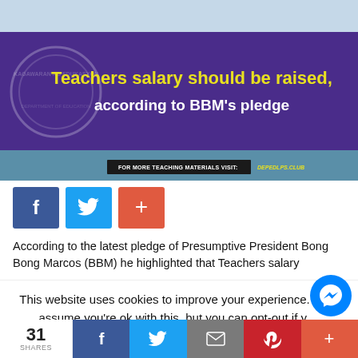[Figure (photo): Hero banner image with purple background showing bold text about teachers salary and BBM's pledge, with watermark circle on left and a footer bar reading 'FOR MORE TEACHING MATERIALS VISIT: DEPEDLPS.CLUB']
[Figure (infographic): Social share buttons row: Facebook (blue), Twitter (blue), Plus/share (red-orange)]
According to the latest pledge of Presumptive President Bong Bong Marcos (BBM) he highlighted that Teachers salary
This website uses cookies to improve your experience. We'll assume you're ok with this, but you can opt-out if y...
[Figure (infographic): Bottom share bar with 31 SHARES count, Facebook, Twitter, Email, Pinterest, Plus buttons]
[Figure (illustration): Messenger chat bubble icon (blue circle with lightning bolt messenger logo)]